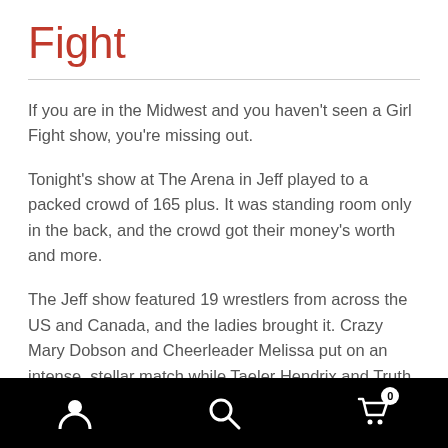Fight
If you are in the Midwest and you haven't seen a Girl Fight show, you're missing out.
Tonight's show at The Arena in Jeff played to a packed crowd of 165 plus. It was standing room only in the back, and the crowd got their money's worth and more.
The Jeff show featured 19 wrestlers from across the US and Canada, and the ladies brought it. Crazy Mary Dobson and Cheerleader Melissa put on an intense, stellar match while Taeler Hendrix and Truth Martini earned the ire of the crowd with a delightful heel performance in the main
Navigation bar with user, search, and cart (0) icons